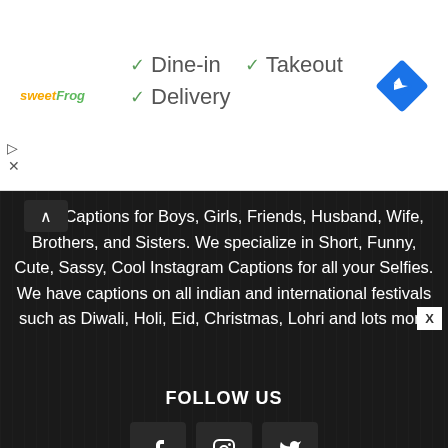[Figure (screenshot): Ad banner with sweetFrog logo, checkmarks for Dine-in, Takeout, Delivery, and a blue navigation arrow icon]
have Captions for Boys, Girls, Friends, Husband, Wife, Brothers, and Sisters. We specialize in Short, Funny, Cute, Sassy, Cool Instagram Captions for all your Selfies. We have captions on all indian and international festivals such as Diwali, Holi, Eid, Christmas, Lohri and lots more
FOLLOW US
[Figure (infographic): Three social media icon boxes: Facebook (f), Instagram (camera), Twitter (bird)]